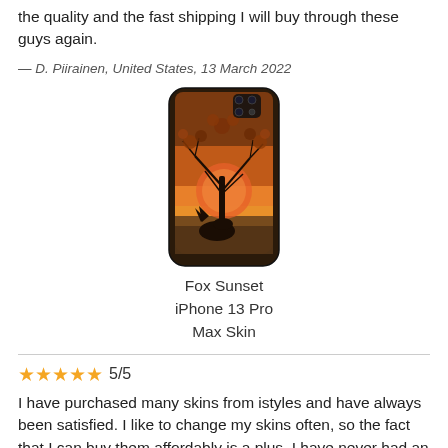the quality and the fast shipping I will buy through these guys again.
— D. Piirainen, United States, 13 March 2022
[Figure (photo): Photo of a phone case (iPhone 13 Pro Max) with a Fox Sunset design showing a fox silhouette against an orange and purple sunset sky with a tree.]
Fox Sunset iPhone 13 Pro Max Skin
5/5
I have purchased many skins from istyles and have always been satisfied. I like to change my skins often, so the fact that I can buy them affordably is a plus. I have never had an issue with quality either. Easy to install, good quality and a great price, what more can